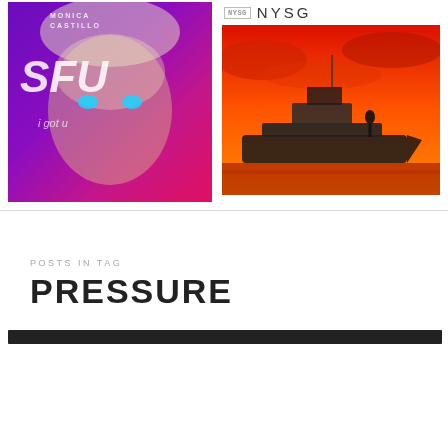[Figure (photo): Music single cover art for 'SFU' by Monica Castillo – woman with blue eye makeup and tears against purple/blue background with text overlay]
[Figure (photo): NYSG branded image – person standing on a luxury yacht against an orange/red dramatic sky background]
POSTS IN TAG
PRESSURE